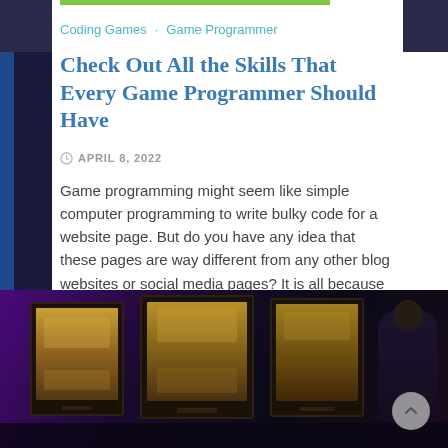Coding Games  Game Programmer
Check Out All the Skills That Every Game Programmer Should Have
APRIL 8, 2022
Game programming might seem like simple computer programming to write bulky code for a website page. But do you have any idea that these pages are way different from any other blog websites or social media pages? It is all because the gaming platforms have a versatile interaction with the users, and all the results […]
READ MORE
[Figure (photo): Dark gaming setup with multiple monitors displaying golden game art, purple ambient lighting, person visible on right side]